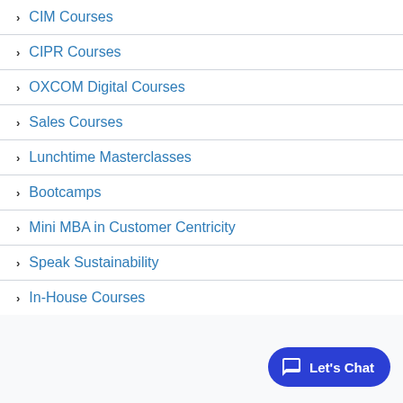CIM Courses
CIPR Courses
OXCOM Digital Courses
Sales Courses
Lunchtime Masterclasses
Bootcamps
Mini MBA in Customer Centricity
Speak Sustainability
In-House Courses